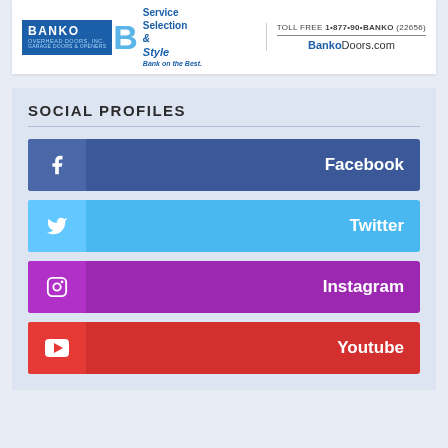[Figure (logo): Banko Overhead Doors, Inc. advertisement banner with logo, Service Selection Style tagline, toll free number 1-877-90-BANKO (22656), and BankoDoors.com website]
SOCIAL PROFILES
Facebook
Twitter
Instagram
Youtube